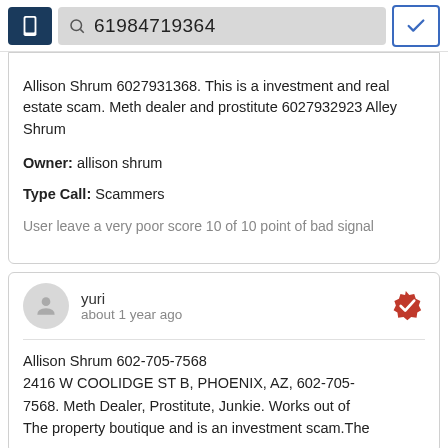61984719364
Allison Shrum 6027931368. This is a investment and real estate scam. Meth dealer and prostitute 6027932923 Alley Shrum
Owner: allison shrum
Type Call: Scammers
User leave a very poor score 10 of 10 point of bad signal
yuri
about 1 year ago
Allison Shrum 602-705-7568 2416 W COOLIDGE ST B, PHOENIX, AZ, 602-705-7568. Meth Dealer, Prostitute, Junkie. Works out of The property boutique and is an investment scam.The